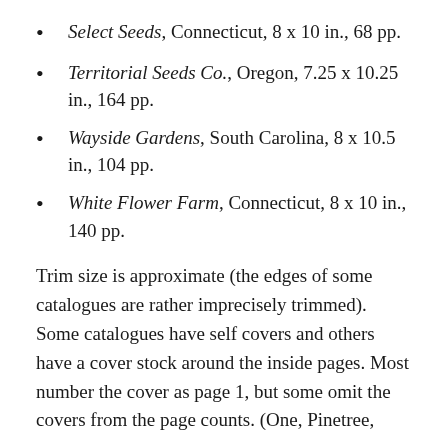Select Seeds, Connecticut, 8 x 10 in., 68 pp.
Territorial Seeds Co., Oregon, 7.25 x 10.25 in., 164 pp.
Wayside Gardens, South Carolina, 8 x 10.5 in., 104 pp.
White Flower Farm, Connecticut, 8 x 10 in., 140 pp.
Trim size is approximate (the edges of some catalogues are rather imprecisely trimmed). Some catalogues have self covers and others have a cover stock around the inside pages. Most number the cover as page 1, but some omit the covers from the page counts. (One, Pinetree,